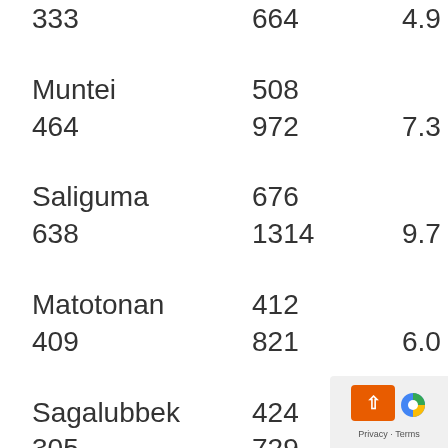| 333 | 664 | 4.9 |
| Muntei | 508 |  |
| 464 | 972 | 7.3 |
| Saliguma | 676 |  |
| 638 | 1314 | 9.7 |
| Matotonan | 412 |  |
| 409 | 821 | 6.0 |
| Sagalubbek | 424 |  |
| 305 | 729 | 5.4 |